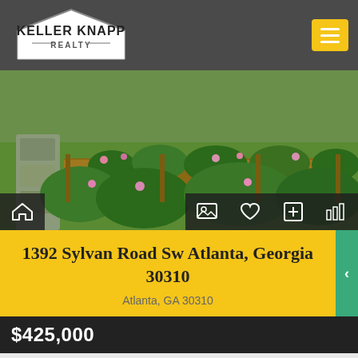Keller Knapp Realty
[Figure (photo): Outdoor garden photo showing stone pathway, raised garden beds with wooden borders, flowering shrubs and green lawn]
1392 Sylvan Road Sw Atlanta, Georgia 30310
Atlanta, GA 30310
$425,000
Get ready for the ultimate in intown living! Gorgeous renovated bungalow in Capitol View, only minutes from the Westside...